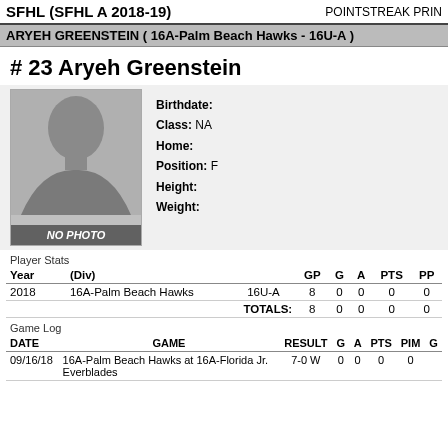SFHL (SFHL A 2018-19)    POINTSTREAK PRIN
ARYEH GREENSTEIN ( 16A-Palm Beach Hawks - 16U-A )
# 23 Aryeh Greenstein
[Figure (photo): Player photo placeholder showing silhouette with NO PHOTO label]
Birthdate:
Class: NA
Home:
Position: F
Height:
Weight:
Player Stats
| Year | (Div) |  | GP | G | A | PTS | PP |
| --- | --- | --- | --- | --- | --- | --- | --- |
| 2018 | 16A-Palm Beach Hawks | 16U-A | 8 | 0 | 0 | 0 | 0 |
|  |  | TOTALS: | 8 | 0 | 0 | 0 | 0 |
Game Log
| DATE | GAME | RESULT | G | A | PTS | PIM | G |
| --- | --- | --- | --- | --- | --- | --- | --- |
| 09/16/18 | 16A-Palm Beach Hawks at 16A-Florida Jr. Everblades | 7-0 W | 0 | 0 | 0 | 0 |  |